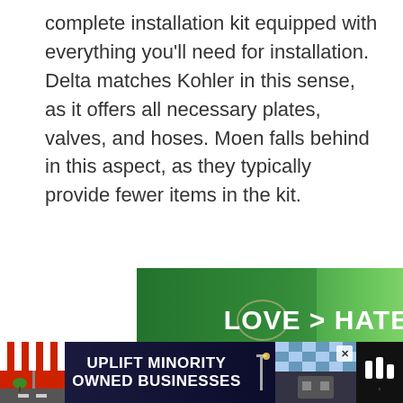complete installation kit equipped with everything you'll need for installation. Delta matches Kohler in this sense, as it offers all necessary plates, valves, and hoses. Moen falls behind in this aspect, as they typically provide fewer items in the kit.
[Figure (screenshot): Advertisement banner showing hands forming a heart shape with text 'LOVE > HATE' on a green background, with a close button, heart/like button and share button.]
[Figure (screenshot): 'What's Next' recommendation panel showing a thumbnail image with text 'Most Reliable & Best Fauc...']
[Figure (screenshot): Bottom advertisement banner with dark background showing 'UPLIFT MINORITY OWNED BUSINESSES' with a storefront icon on the left and a blue-checkered close button on the right, plus music app logo.]